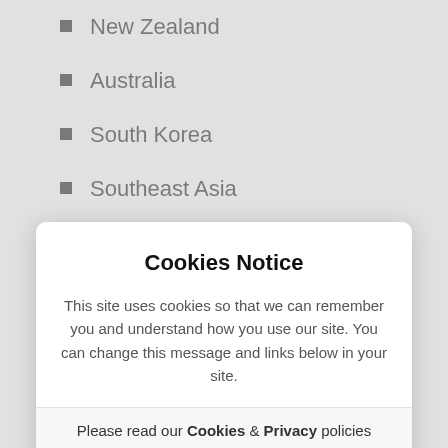New Zealand
Australia
South Korea
Southeast Asia
Indonesia
Thailand
Cookies Notice
This site uses cookies so that we can remember you and understand how you use our site. You can change this message and links below in your site.
Please read our Cookies & Privacy policies
I Agree